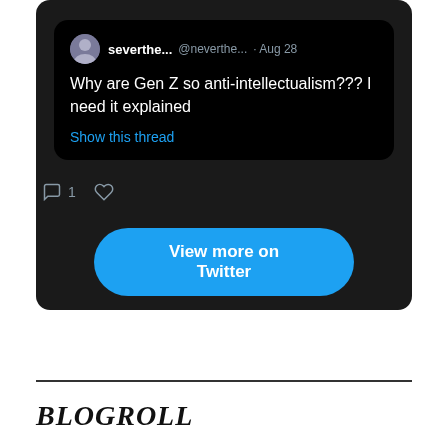[Figure (screenshot): Twitter/X embedded widget showing a tweet by 'severthe...' (@neverthe...) from Aug 28, asking 'Why are Gen Z so anti-intellectualism??? I need it explained' with a 'Show this thread' link, reply count of 1, and a heart icon. Below the tweet is a 'View more on Twitter' blue button and a 'Learn more about privacy on Twitter' note.]
BLOGROLL